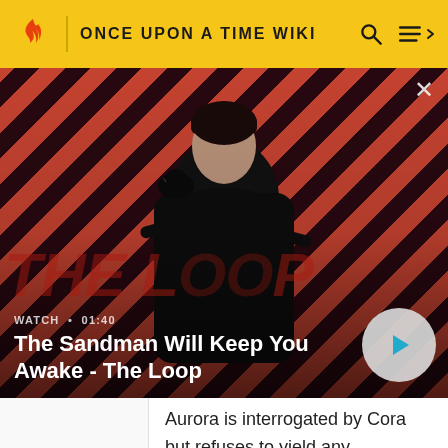ONCE UPON A TIME WIKI
[Figure (screenshot): Video thumbnail showing a dark-cloaked figure with a bird on shoulder against a red and black diagonal striped background. Title reads 'The Sandman Will Keep You Awake - The Loop' with WATCH · 01:40 label and a play button.]
Aurora is interrogated by Cora but refuses to yield any information. She wakes up to Hook untying and releasing her. Unknowingly, Hook steals Aurora's heart without her knowledge. While Emma is watching over Ma...